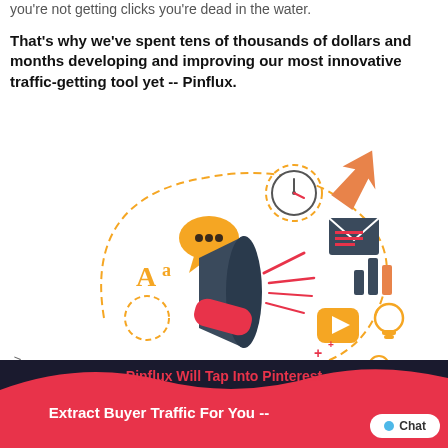you're not getting clicks you're dead in the water.
That's why we've spent tens of thousands of dollars and months developing and improving our most innovative traffic-getting tool yet -- Pinflux.
[Figure (illustration): Marketing megaphone illustration with icons: speech bubble, clock, envelope, bar chart, video play button, light bulb, gear, camera, and font symbol, with orange dashed circular arrow and orange upward arrow, on white background.]
-->
Pinflux Will Tap Into Pinterest Extract Buyer Traffic For You --